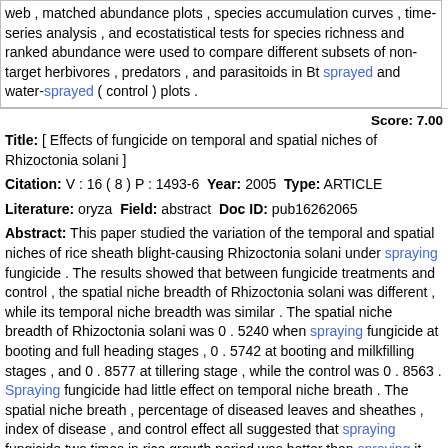web , matched abundance plots , species accumulation curves , time-series analysis , and ecostatistical tests for species richness and ranked abundance were used to compare different subsets of non-target herbivores , predators , and parasitoids in Bt sprayed and water-sprayed ( control ) plots .
Score: 7.00
Title: [ Effects of fungicide on temporal and spatial niches of Rhizoctonia solani ]
Citation: V : 16 ( 8 ) P : 1493-6 Year: 2005 Type: ARTICLE
Literature: oryza Field: abstract Doc ID: pub16262065
Abstract: This paper studied the variation of the temporal and spatial niches of rice sheath blight-causing Rhizoctonia solani under spraying fungicide . The results showed that between fungicide treatments and control , the spatial niche breadth of Rhizoctonia solani was different , while its temporal niche breadth was similar . The spatial niche breadth of Rhizoctonia solani was 0 . 5240 when spraying fungicide at booting and full heading stages , 0 . 5742 at booting and milkfilling stages , and 0 . 8577 at tillering stage , while the control was 0 . 8563 . Spraying fungicide had little effect on temporal niche breath . The spatial niche breath , percentage of diseased leaves and sheathes , index of disease , and control effect all suggested that spraying fungicide two times in rice growth period was better than spraying it one time . Spraying fungicide at booting and full heading stages and at booting stage and milkfilling stages had the best effects . Fungicide could not only narrow the spatial niche breadth , limit the spread of Rhizoctonia solani on top leaves which were important for the yield , but also narrow the temporal niche breadth , limit the spread of Rhizoctonia solani during the yield formation period of rice . But , spraying fungicide only changed the distribution of the